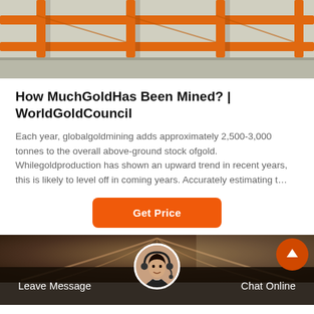[Figure (photo): Industrial scaffolding or conveyor equipment with orange metal bars/frames on a gray concrete floor, top portion of the image.]
How MuchGoldHas Been Mined? | WorldGoldCouncil
Each year, globalgoldmining adds approximately 2,500-3,000 tonnes to the overall above-ground stock ofgold. Whilegoldproduction has shown an upward trend in recent years, this is likely to level off in coming years. Accurately estimating t…
[Figure (illustration): Orange rounded rectangle button labeled 'Get Price']
[Figure (photo): Bottom banner with industrial warehouse interior background, featuring a customer service representative avatar in a circular frame, 'Leave Message' text on the left, 'Chat Online' text on the right, and an orange up-arrow circle button in the top right.]